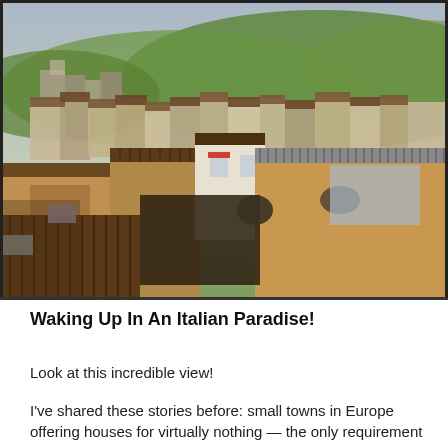[Figure (photo): Aerial/elevated view of an Italian town with densely packed old buildings featuring tiled rooftops, stone walls in ochre and grey tones, and green rolling hills in the background under a cloudy sky.]
Waking Up In An Italian Paradise!
Look at this incredible view!
I've shared these stories before: small towns in Europe offering houses for virtually nothing — the only requirement